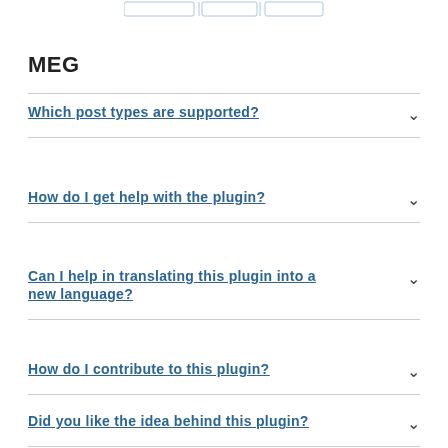[Figure (screenshot): Partial screenshot of a navigation/tab element at the top of the page]
MEG
Which post types are supported?
How do I get help with the plugin?
Can I help in translating this plugin into a new language?
How do I contribute to this plugin?
Did you like the idea behind this plugin?
I need help customizing this plugin?